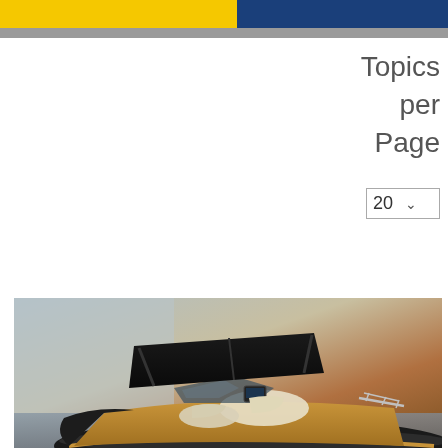Topics per Page
20
[Figure (photo): Aerial/elevated view of a luxury motorboat/speedboat with a black bimini top canopy, wood-finished deck with seating, navigation electronics, and silver railing, photographed against a misty water background with warm amber/orange tones.]